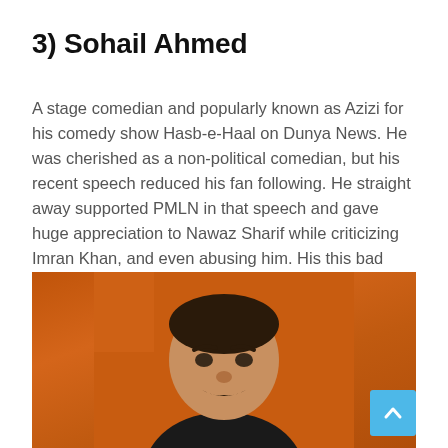3) Sohail Ahmed
A stage comedian and popularly known as Azizi for his comedy show Hasb-e-Haal on Dunya News. He was cherished as a non-political comedian, but his recent speech reduced his fan following. He straight away supported PMLN in that speech and gave huge appreciation to Nawaz Sharif while criticizing Imran Khan, and even abusing him. His this bad move even caused his show getting low rating afterwards.
[Figure (photo): Photo of Sohail Ahmed (Azizi), a man with a mustache looking upward, against an orange background.]